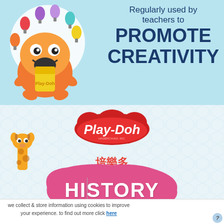[Figure (illustration): Play-Doh cartoon character (orange creature holding a yellow Play-Doh can) surrounded by colorful lightbulb shapes in a circular arrangement, on a light blue background]
Regularly used by teachers to PROMOTE CREATIVITY
[Figure (logo): Play-Doh brand logo in red cloud shape, followed by Chinese characters 培樂多 in red, on a light blue/grey honeycomb pattern background]
[Figure (illustration): Pink blob/splat shape with the word HISTORY in white text, and a green blob partially visible. A giraffe cartoon character on the left with a blue speech bubble saying 'hello!' with small Thai text below.]
we collect & store information using cookies to improve your experience. to find out more click here